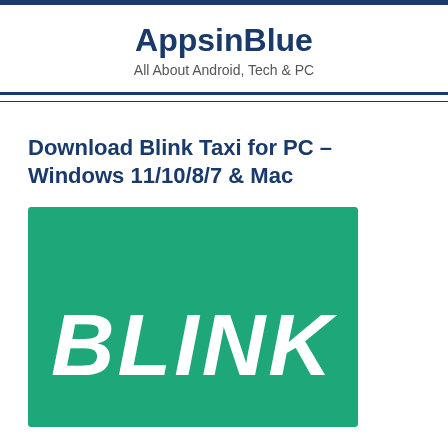AppsinBlue
All About Android, Tech & PC
Download Blink Taxi for PC – Windows 11/10/8/7 & Mac
[Figure (logo): Blink Taxi app logo — green square background with white bold italic BLINK text]